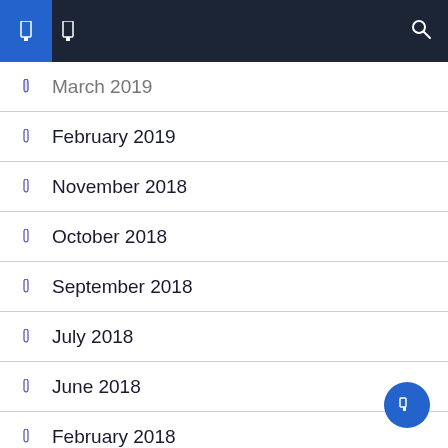Navigation bar with icons
March 2019
February 2019
November 2018
October 2018
September 2018
July 2018
June 2018
February 2018
October 2017
August 2017